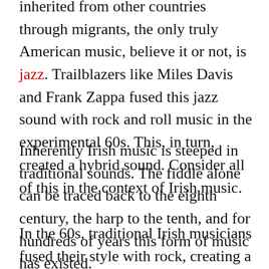inherited from other countries through migrants, the only truly American music, believe it or not, is jazz. Trailblazers like Miles Davis and Frank Zappa fused this jazz sound with rock and roll music in the experimental 60s. This, in turn, created a hybrid sound. Consider all of this in the context of Irish music.
Inherently Irish music is steeped in traditional sounds. The fiddle alone can be traced back to the eighth century, the harp to the tenth, and for hundreds of years this form of music has existed.
In the 60s, traditional Irish musicians fused their style with rock, creating a sound which became purely original to this country. Indeed